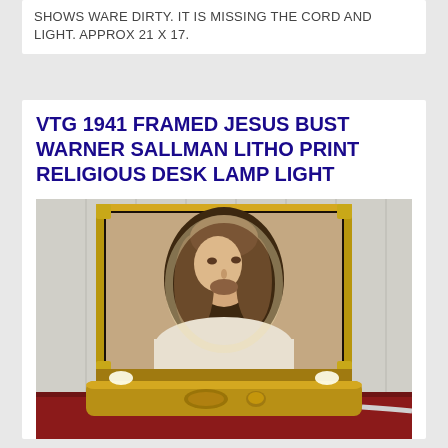SHOWS WARE DIRTY. IT IS MISSING THE CORD AND LIGHT. APPROX 21 X 17.
VTG 1941 FRAMED JESUS BUST WARNER SALLMAN LITHO PRINT RELIGIOUS DESK LAMP LIGHT
[Figure (photo): Vintage 1941 framed Jesus bust Warner Sallman lithograph religious desk lamp with gold frame and illuminated base on a red surface]